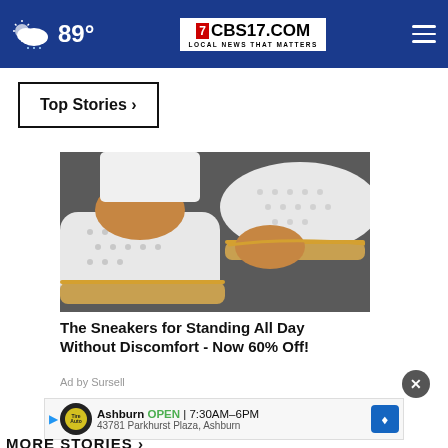CBS17.COM — LOCAL NEWS THAT MATTERS | 89°
Top Stories ›
[Figure (photo): Close-up photo of white slip-on sneakers with mesh pattern and tan/gold trim soles, worn with white jeans, on a dark surface]
The Sneakers for Standing All Day Without Discomfort - Now 60% Off!
Ad by Sursell
Ashburn OPEN | 7:30AM–6PM
43781 Parkhurst Plaza, Ashburn
MORE STORIES ›